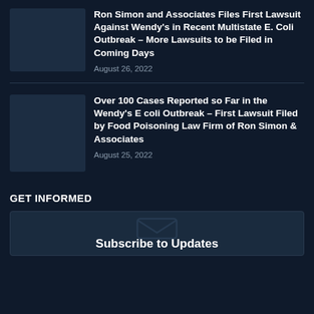Ron Simon and Associates Files First Lawsuit Against Wendy's in Recent Multistate E. Coli Outbreak – More Lawsuits to be Filed in Coming Days
August 26, 2022
Over 100 Cases Reported so Far in the Wendy's E coli Outbreak – First Lawsuit Filed by Food Poisoning Law Firm of Ron Simon & Associates
August 25, 2022
GET INFORMED
[Figure (other): Subscribe to Updates box with envelope/arrow icon]